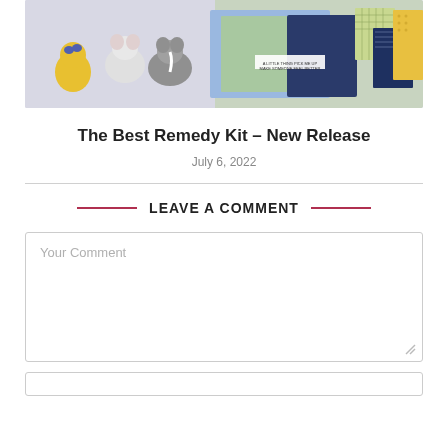[Figure (photo): Photo of crafting supplies: cute animal stickers (cat, mouse, skunk) on left, greeting cards (navy blue, green) in center, patterned paper (plaid, striped, yellow dotted) on right]
The Best Remedy Kit – New Release
July 6, 2022
LEAVE A COMMENT
Your Comment